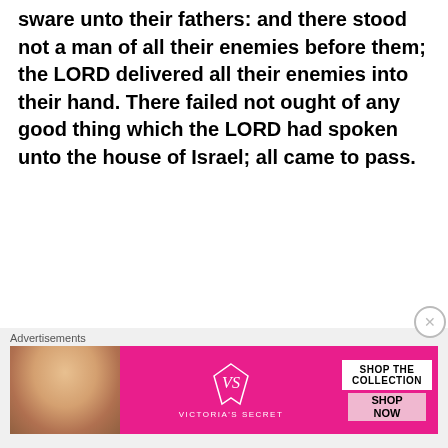sware unto their fathers: and there stood not a man of all their enemies before them; the LORD delivered all their enemies into their hand. There failed not ought of any good thing which the LORD had spoken unto the house of Israel; all came to pass.
Know therefore that the LORD thy God, he is God, the faithful God, which keepeth covenant and mercy with them that love him and keep his commandments to a thousand generations; Deuteronomy 7:9
And I said, “O Lord God of heaven, the great and awesome God who keeps covenant and steadfast love with those who love him and keep his commandments, Nehemiah 1:5
[Figure (other): Victoria's Secret advertisement banner with a woman's face on the left, Victoria's Secret logo in the center on a pink background, and 'SHOP THE COLLECTION' text with a 'SHOP NOW' button on the right.]